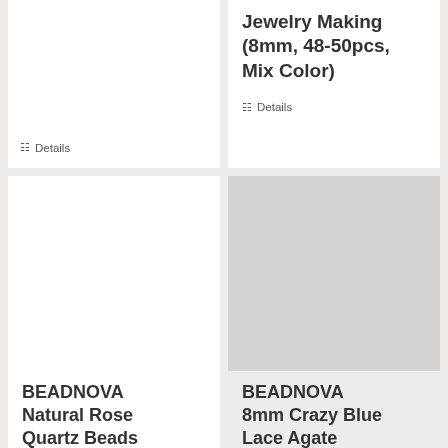Details
Jewelry Making (8mm, 48-50pcs, Mix Color)
Details
[Figure (photo): White blank product image placeholder for BEADNOVA Natural Rose Quartz Beads]
[Figure (photo): Gray blank product image placeholder for BEADNOVA 8mm Crazy Blue Lace Agate]
BEADNOVA Natural Rose Quartz Beads
BEADNOVA 8mm Crazy Blue Lace Agate